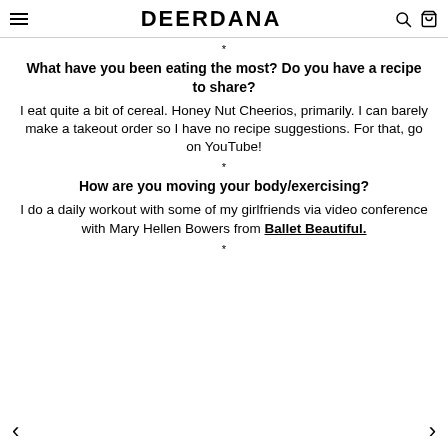DEERDANA
*
What have you been eating the most? Do you have a recipe to share?
I eat quite a bit of cereal. Honey Nut Cheerios, primarily. I can barely make a takeout order so I have no recipe suggestions. For that, go on YouTube!
*
How are you moving your body/exercising?
I do a daily workout with some of my girlfriends via video conference with Mary Hellen Bowers from Ballet Beautiful.
*